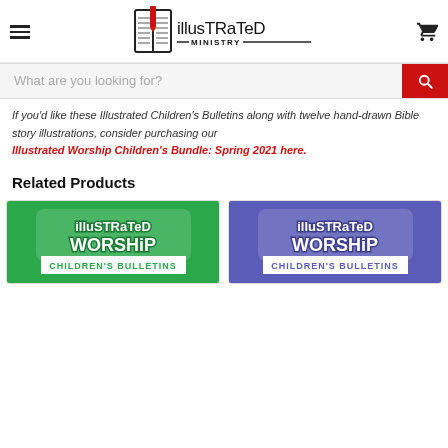Illustrated Ministry — navigation header with hamburger menu, logo, and cart icon
What are you looking for? [search bar with red search button]
If you'd like these Illustrated Children's Bulletins along with twelve hand-drawn Bible story illustrations, consider purchasing our
Illustrated Worship Children's Bundle: Spring 2021 here.
Related Products
[Figure (illustration): Green background product image for Illustrated Worship Children's Bulletins]
[Figure (illustration): Blue/purple background product image for Illustrated Worship Children's Bulletins]